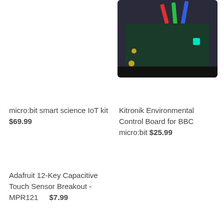[Figure (photo): Kitronik Environmental Control Board for BBC micro:bit product photo showing circuit board with colorful wires in a black tray]
micro:bit smart science IoT kit $69.99
Kitronik Environmental Control Board for BBC micro:bit $25.99
Adafruit 12-Key Capacitive Touch Sensor Breakout - MPR121 $7.99